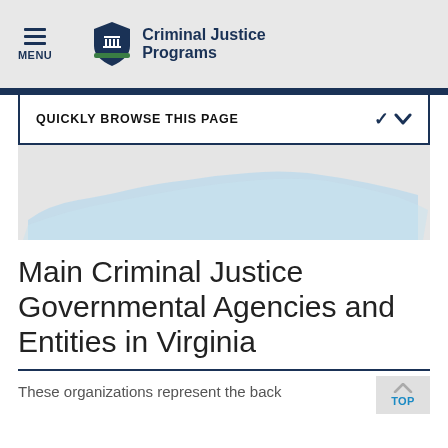MENU | Criminal Justice Programs
QUICKLY BROWSE THIS PAGE
[Figure (map): Partial map of Virginia shown in light blue and gray]
Main Criminal Justice Governmental Agencies and Entities in Virginia
These organizations represent the back